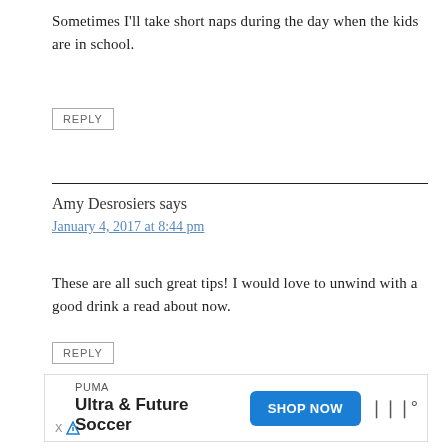Sometimes I'll take short naps during the day when the kids are in school.
REPLY
Amy Desrosiers says
January 4, 2017 at 8:44 pm
These are all such great tips! I would love to unwind with a good drink a read about now.
REPLY
[Figure (other): PUMA advertisement banner with 'Ultra & Future Soccer' text and 'SHOP NOW' button]